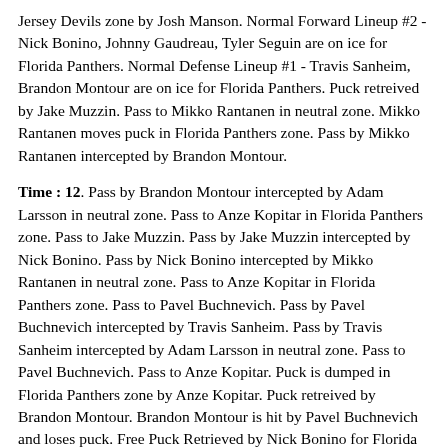Jersey Devils zone by Josh Manson. Normal Forward Lineup #2 - Nick Bonino, Johnny Gaudreau, Tyler Seguin are on ice for Florida Panthers. Normal Defense Lineup #1 - Travis Sanheim, Brandon Montour are on ice for Florida Panthers. Puck retreived by Jake Muzzin. Pass to Mikko Rantanen in neutral zone. Mikko Rantanen moves puck in Florida Panthers zone. Pass by Mikko Rantanen intercepted by Brandon Montour.
Time : 12. Pass by Brandon Montour intercepted by Adam Larsson in neutral zone. Pass to Anze Kopitar in Florida Panthers zone. Pass to Jake Muzzin. Pass by Jake Muzzin intercepted by Nick Bonino. Pass by Nick Bonino intercepted by Mikko Rantanen in neutral zone. Pass to Anze Kopitar in Florida Panthers zone. Pass to Pavel Buchnevich. Pass by Pavel Buchnevich intercepted by Travis Sanheim. Pass by Travis Sanheim intercepted by Adam Larsson in neutral zone. Pass to Pavel Buchnevich. Pass to Anze Kopitar. Puck is dumped in Florida Panthers zone by Anze Kopitar. Puck retreived by Brandon Montour. Brandon Montour is hit by Pavel Buchnevich and loses puck. Free Puck Retrieved by Nick Bonino for Florida Panthers. Pass to Travis Sanheim in neutral zone. Travis Sanheim moves puck in New Jersey Devils zone. Pass to Tyler Seguin. Puck is dumped in New Jersey Devils zone by Tyler Seguin. Normal Forward Lineup #4 - Adam Gaudette, Corey Perry, Emil Bemstrom are on ice for Florida Panthers. Normal Defense Lineup #3 - Robert Hagg, Evan Bouchard are on ice for